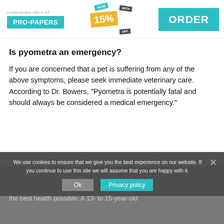[Figure (other): Pro-Papers homework help advertisement banner with teal branding, 15% off badge, and ORDER button]
Is pyometra an emergency?
If you are concerned that a pet is suffering from any of the above symptoms, please seek immediate veterinary care. According to Dr. Bowers, “Pyometra is potentially fatal and should always be considered a medical emergency.”
How old should a 13-year-old dogge?
And there are many things you can do to help ensure she remains in the best health possible. A 13- to 15-year-old